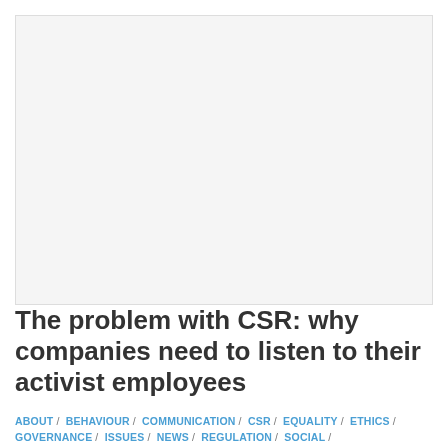[Figure (photo): Blank/white image placeholder area at top of article page]
The problem with CSR: why companies need to listen to their activist employees
ABOUT / BEHAVIOUR / COMMUNICATION / CSR / EQUALITY / ETHICS / GOVERNANCE / ISSUES / NEWS / REGULATION / SOCIAL / STAKEHOLDERS /